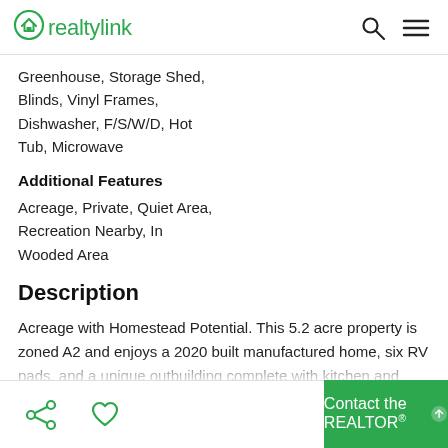realtylink
Greenhouse, Storage Shed, Blinds, Vinyl Frames, Dishwasher, F/S/W/D, Hot Tub, Microwave
Additional Features
Acreage, Private, Quiet Area, Recreation Nearby, In Wooded Area
Description
Acreage with Homestead Potential. This 5.2 acre property is zoned A2 and enjoys a 2020 built manufactured home, six RV pads, and a unique outbuilding complete with kitchen and indoor/outdoor seating. Inside the home you will find the
Contact the REALTOR®